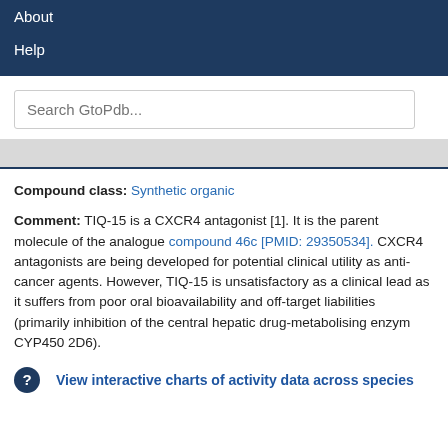About
Help
Search GtoPdb...
Compound class: Synthetic organic
Comment: TIQ-15 is a CXCR4 antagonist [1]. It is the parent molecule of the analogue compound 46c [PMID: 29350534]. CXCR4 antagonists are being developed for potential clinical utility as anti-cancer agents. However, TIQ-15 is unsatisfactory as a clinical lead as it suffers from poor oral bioavailability and off-target liabilities (primarily inhibition of the central hepatic drug-metabolising enzyme CYP450 2D6).
View interactive charts of activity data across species